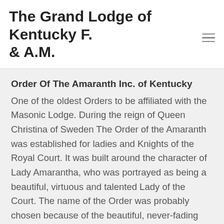The Grand Lodge of Kentucky F. & A.M.
Order Of The Amaranth Inc. of Kentucky
One of the oldest Orders to be affiliated with the Masonic Lodge. During the reign of Queen Christina of Sweden The Order of the Amaranth was established for ladies and Knights of the Royal Court. It was built around the character of Lady Amarantha, who was portrayed as being a beautiful, virtuous and talented Lady of the Court. The name of the Order was probably chosen because of the beautiful, never-fading red Amaranthus flowers growing in profusion in Spain and